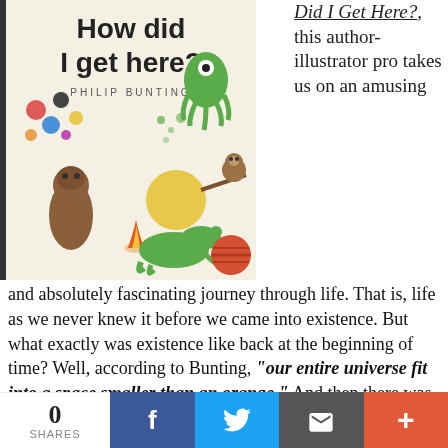[Figure (illustration): Book cover of 'How did I get here?' by Philip Bunting, showing colorful illustrated characters including a green monster, bigfoot, dinosaur, monkey, and various bubbles on a light beige background.]
Did I Get Here?, this author-illustrator pro takes us on an amusing and absolutely fascinating journey through life. That is, life as we never knew it before we came into existence. But what exactly was existence like back at the beginning of time? Well, according to Bunting, "our entire universe fit into a space smaller than an orange." And then there was a really BIG BANG, and particles formed to create ginormous dust clouds. I love the language put so simply and
0 SHARES  [Facebook] [Twitter] [Email] [+]